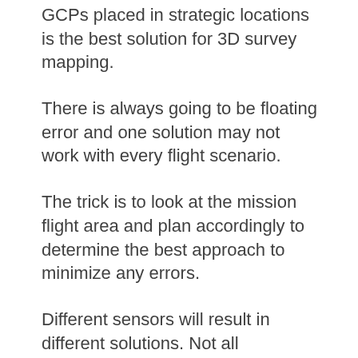GCPs placed in strategic locations is the best solution for 3D survey mapping.
There is always going to be floating error and one solution may not work with every flight scenario.
The trick is to look at the mission flight area and plan accordingly to determine the best approach to minimize any errors.
Different sensors will result in different solutions. Not all drones/sensors are equal.
Remember the deliverables are the key factor. Select the sensor that will meet the deliverables. Select the drone/platform that matches the...